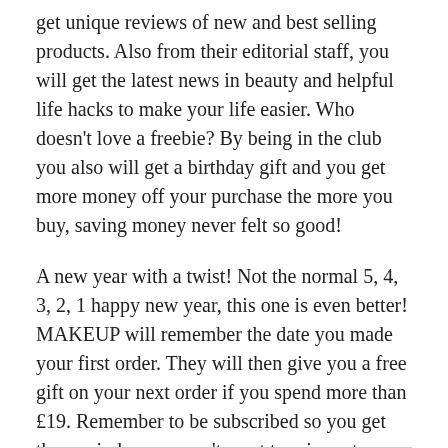get unique reviews of new and best selling products. Also from their editorial staff, you will get the latest news in beauty and helpful life hacks to make your life easier. Who doesn't love a freebie? By being in the club you also will get a birthday gift and you get more money off your purchase the more you buy, saving money never felt so good!
A new year with a twist! Not the normal 5, 4, 3, 2, 1 happy new year, this one is even better! MAKEUP will remember the date you made your first order. They will then give you a free gift on your next order if you spend more than £19. Remember to be subscribed so you get the reminder you won't want to miss out on this.